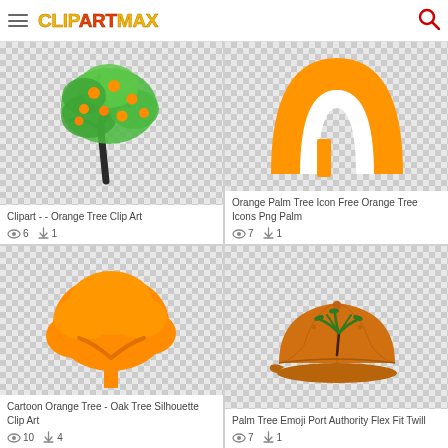ClipArtMax
[Figure (illustration): Green orange tree with orange fruits, clipart on transparent checkered background]
Clipart - - Orange Tree Clip Art
6 views, 1 download
[Figure (illustration): Orange palm tree icon silhouette on transparent checkered background]
Orange Palm Tree Icon Free Orange Tree Icons Png Palm
7 views, 1 download
[Figure (illustration): Orange silhouette of a large tree (oak/cartoon style) on checkered background]
Cartoon Orange Tree - Oak Tree Silhouette Clip Art
10 views, 4 downloads
[Figure (illustration): Orange baseball cap with green palm tree embroidered logo on checkered background]
Palm Tree Emoji Port Authority Flex Fit Twill
7 views, 1 download